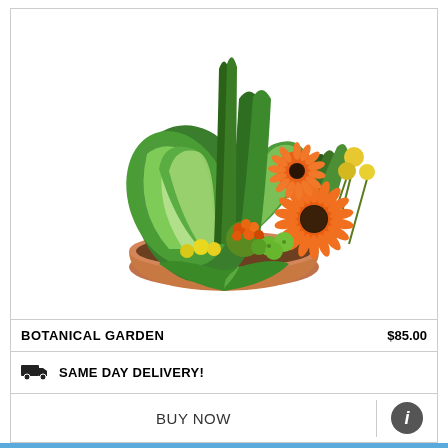[Figure (photo): A botanical garden flower arrangement in a terracotta bowl featuring green tropical plants (dieffenbachia, spathiphyllum), orange gerbera daisies, orange kalanchoe, yellow spray roses, green button mums, and yellow craspedia ball flowers.]
BOTANICAL GARDEN
$85.00
SAME DAY DELIVERY!
BUY NOW
CALL
MAP
HOURS